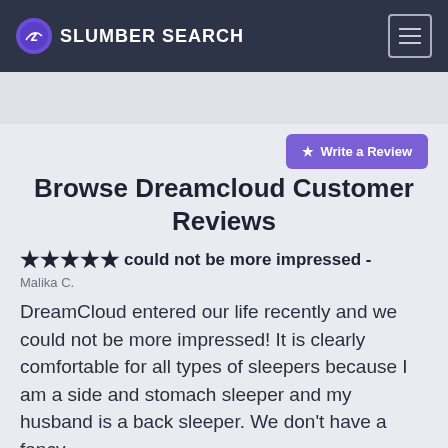SLUMBER SEARCH
Browse Dreamcloud Customer Reviews
★★★★★ could not be more impressed - Malika C.
DreamCloud entered our life recently and we could not be more impressed! It is clearly comfortable for all types of sleepers because I am a side and stomach sleeper and my husband is a back sleeper. We don't have a fancy